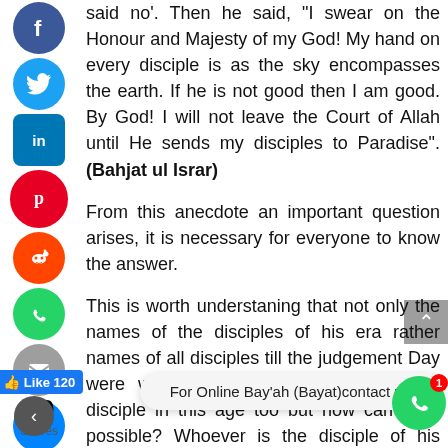said no'. Then he said, 'I swear on the Honour and Majesty of my God! My hand on every disciple is as the sky encompasses the earth. If he is not good then I am good. By God! I will not leave the Court of Allah until He sends my disciples to Paradise". (Bahjat ul Israr)
From this anecdote an important question arises, it is necessary for everyone to know the answer.
This is worth understaning that not only the names of the disciples of his era rather names of all disciples till the judgement Day were written. It means one can be his disciple in this age too but how can it be possible? Whoever is the disciple of his chain of mysticism can be his disciple till the judgement Day. It is necessary to know who is Sultan ul Awliya Sultan ul Azam in this age and which Mystic chain has his